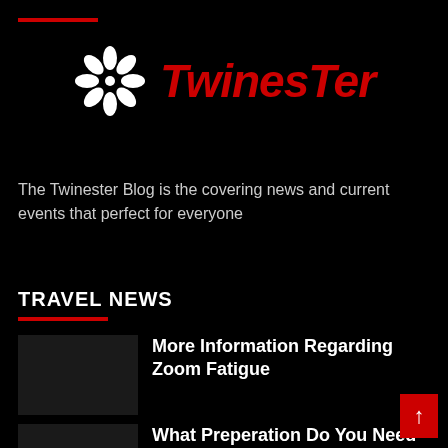[Figure (logo): TwinesTer blog logo — white snowflake/flower icon on left, red italic bold text 'TwinesTer' on right, on black background]
The Twinester Blog is the covering news and current events that perfect for everyone
TRAVEL NEWS
More Information Regarding Zoom Fatigue
What Preperation Do You Need